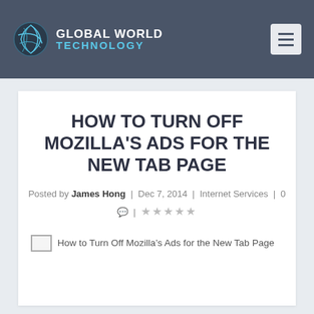GLOBAL WORLD TECHNOLOGY
HOW TO TURN OFF MOZILLA'S ADS FOR THE NEW TAB PAGE
Posted by James Hong | Dec 7, 2014 | Internet Services | 0 💬 | ☆☆☆☆☆
[Figure (other): Broken image placeholder with alt text: How to Turn Off Mozilla's Ads for the New Tab Page]